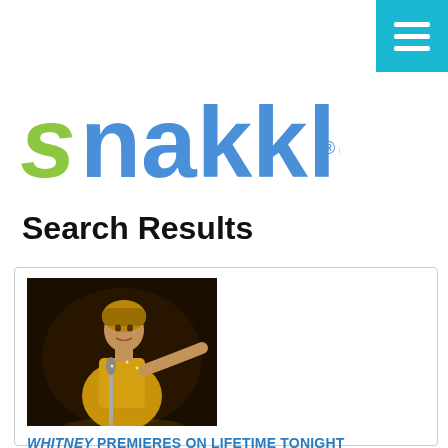[Figure (logo): Snakle logo with green italic 's' and blue 'nakkle' text with registered trademark symbol]
Search Results
[Figure (photo): A performer in gold/yellow costume with headpiece, singing on stage with microphone, dark background]
WHITNEY PREMIERES ON LIFETIME TONIGHT
By KERENSA CADENAS on JANUARY 16, 2015
Angela Bassett's directorial debut Whitney premieres tonight on